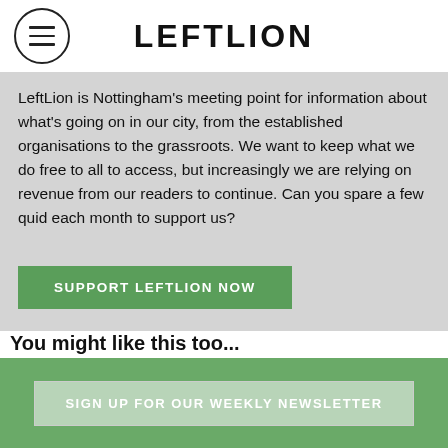LEFTLION
LeftLion is Nottingham's meeting point for information about what's going on in our city, from the established organisations to the grassroots. We want to keep what we do free to all to access, but increasingly we are relying on revenue from our readers to continue. Can you spare a few quid each month to support us?
SUPPORT LEFTLION NOW
You might like this too...
[Figure (photo): Theatre performance photo showing performers on stage with dark background, wearing period costumes including top hats]
SIGN UP FOR OUR WEEKLY NEWSLETTER